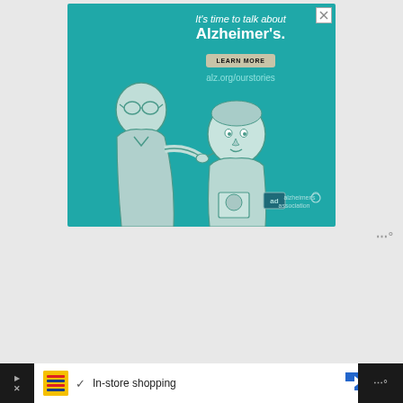[Figure (illustration): Alzheimer's Association advertisement banner on teal background. Text reads 'It's time to talk about Alzheimer's.' with a LEARN MORE button and URL alz.org/ourstories. Illustration shows two elderly people conversing. Alzheimer's Association logo bottom right.]
[Figure (screenshot): Bottom browser bar showing Lidl shopping ad with 'In-store shopping' text, checkmark, navigation arrow icon, and Munzen app icon.]